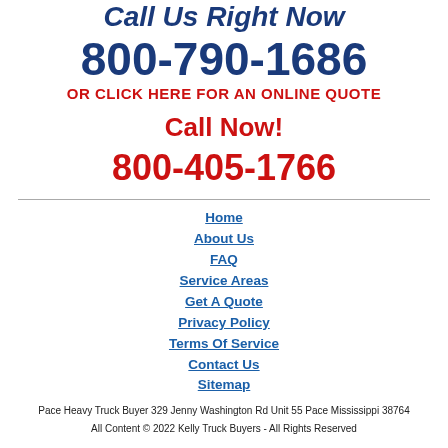Call Us Right Now
800-790-1686
OR CLICK HERE FOR AN ONLINE QUOTE
Call Now!
800-405-1766
Home
About Us
FAQ
Service Areas
Get A Quote
Privacy Policy
Terms Of Service
Contact Us
Sitemap
Pace Heavy Truck Buyer 329 Jenny Washington Rd Unit 55 Pace Mississippi 38764
All Content © 2022 Kelly Truck Buyers - All Rights Reserved